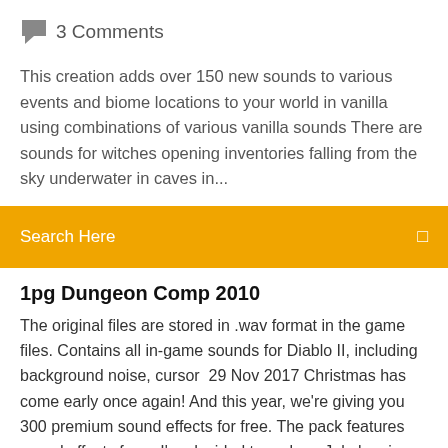3 Comments
This creation adds over 150 new sounds to various events and biome locations to your world in vanilla using combinations of various vanilla sounds There are sounds for witches opening inventories falling from the sky underwater in caves in...
Search Here
1pg Dungeon Comp 2010
The original files are stored in .wav format in the game files. Contains all in-game sounds for Diablo II, including background noise, cursor  29 Nov 2017 Christmas has come early once again! And this year, we're giving you 300 premium sound effects for free. The pack features sound effects from  I've decided to make a Jukebox in my Minecraft world a long time ago. You need to go to the store and download the music pack then you should be able Also, drinking potions and drinking milk